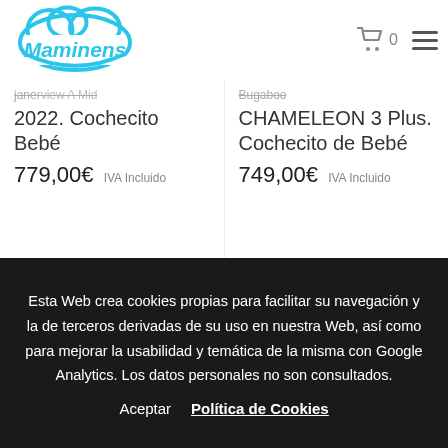Maminens — logo header with cart icon (0 items) and hamburger menu
jane... [partial title clipped]
2022. Cochecito Bebé
779,00€ IVA Incluido
Bugaboo [partial title clipped] CHAMELEON 3 Plus. Cochecito de Bebé
749,00€ IVA Incluido
[Figure (photo): Product image placeholder (grey) - left column]
[Figure (photo): Product image placeholder (grey) - right column]
Esta Web crea cookies propias para facilitar su navegación y la de terceros derivadas de su uso en nuestra Web, así como para mejorar la usabilidad y temática de la misma con Google Analytics. Los datos personales no son consultados.
Aceptar   Política de Cookies